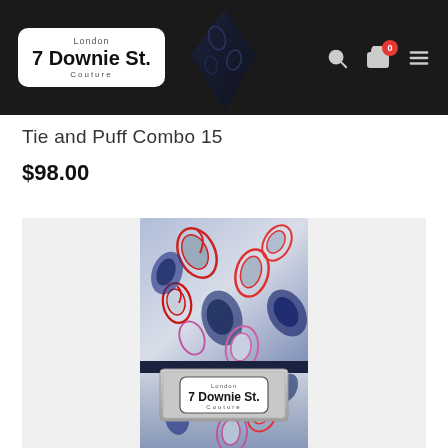[Figure (logo): 7 Downie St. London Couture logo on dark header bar with search, cart (0 items), and menu icons]
Tie and Puff Combo 15
$98.00
[Figure (photo): Product photo: a rolled paisley tie and pocket square combo in blue, white, red and pink paisley print, held together with a 7 Downie St. London Couture branded band, displayed on a light gray background.]